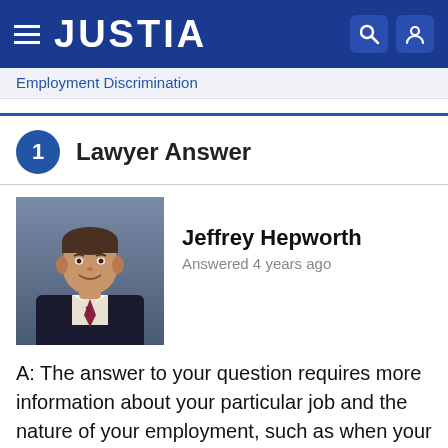JUSTIA
Employment Discrimination
1  Lawyer Answer
[Figure (photo): Professional headshot of Jeffrey Hepworth, a male lawyer in a dark suit and striped tie, smiling, against a blurred background.]
Jeffrey Hepworth
Answered 4 years ago
A: The answer to your question requires more information about your particular job and the nature of your employment, such as when your contract expires. As a general matter, it is not necessarily illegal to change